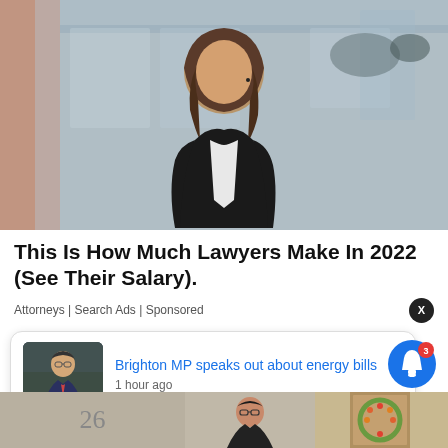[Figure (photo): Professional woman in black blazer standing in a blurred office background, smiling at camera. Appears to be a stock photo of a lawyer or attorney.]
This Is How Much Lawyers Make In 2022 (See Their Salary).
Attorneys | Search Ads | Sponsored
[Figure (screenshot): Notification popup showing a thumbnail of a man in a suit with text 'Brighton MP speaks out about energy bills' and '1 hour ago']
[Figure (photo): Bottom strip showing partial thumbnails of other content items including a woman with glasses and an autumn wreath/flowers image. Also shows a blue bell notification icon with badge showing '3'.]